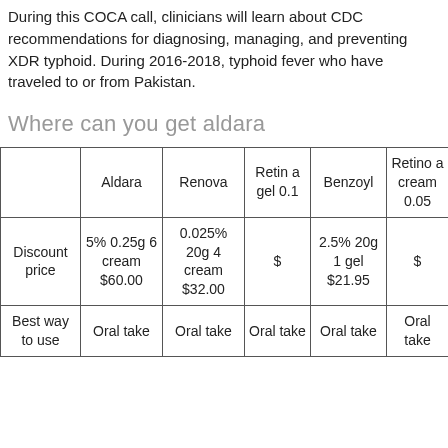During this COCA call, clinicians will learn about CDC recommendations for diagnosing, managing, and preventing XDR typhoid. During 2016-2018, typhoid fever who have traveled to or from Pakistan.
Where can you get aldara
|  | Aldara | Renova | Retin a gel 0.1 | Benzoyl | Retino a cream 0.05 |
| --- | --- | --- | --- | --- | --- |
| Discount price | 5% 0.25g 6 cream $60.00 | 0.025% 20g 4 cream $32.00 | $ | 2.5% 20g 1 gel $21.95 | $ |
| Best way to use | Oral take | Oral take | Oral take | Oral take | Oral take |